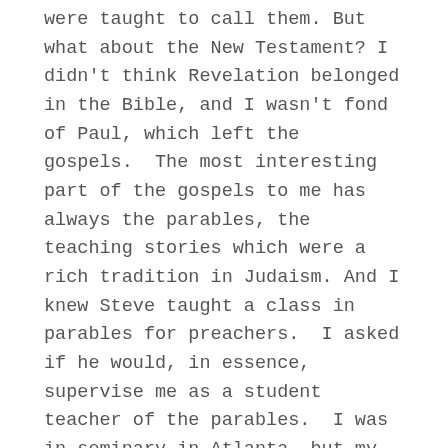were taught to call them. But what about the New Testament? I didn't think Revelation belonged in the Bible, and I wasn't fond of Paul, which left the gospels.  The most interesting part of the gospels to me has always the parables, the teaching stories which were a rich tradition in Judaism. And I knew Steve taught a class in parables for preachers.  I asked if he would, in essence, supervise me as a student teacher of the parables.  I was in seminary in Atlanta, but my class would be back in Clemson, about eight women, in a class we would call Wine and Parables.  We would meet every Friday late afternoon over wine to discuss the parable for the week.
Like my ethics professor, Steve asked, What's in